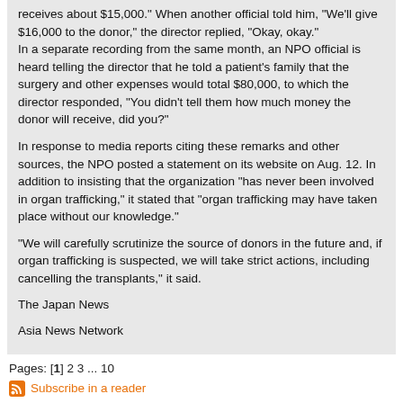receives about $15,000." When another official told him, "We'll give $16,000 to the donor," the director replied, "Okay, okay."
In a separate recording from the same month, an NPO official is heard telling the director that he told a patient's family that the surgery and other expenses would total $80,000, to which the director responded, "You didn't tell them how much money the donor will receive, did you?"
In response to media reports citing these remarks and other sources, the NPO posted a statement on its website on Aug. 12. In addition to insisting that the organization “has never been involved in organ trafficking,” it stated that “organ trafficking may have taken place without our knowledge.”
“We will carefully scrutinize the source of donors in the future and, if organ trafficking is suspected, we will take strict actions, including cancelling the transplants,” it said.
The Japan News
Asia News Network
Pages: [1] 2 3 ... 10
Subscribe in a reader